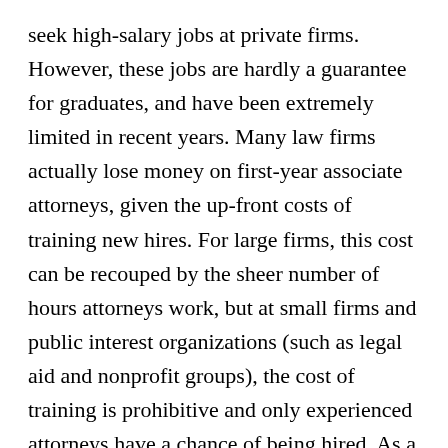seek high-salary jobs at private firms. However, these jobs are hardly a guarantee for graduates, and have been extremely limited in recent years. Many law firms actually lose money on first-year associate attorneys, given the up-front costs of training new hires. For large firms, this cost can be recouped by the sheer number of hours attorneys work, but at small firms and public interest organizations (such as legal aid and nonprofit groups), the cost of training is prohibitive and only experienced attorneys have a chance of being hired. As a result, many law school graduates today are unable to find full-time employment as lawyers.
The Legal Services That Are Needed in the “Real